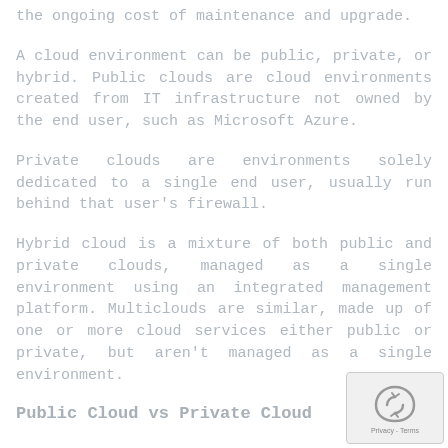the ongoing cost of maintenance and upgrade.
A cloud environment can be public, private, or hybrid. Public clouds are cloud environments created from IT infrastructure not owned by the end user, such as Microsoft Azure.
Private clouds are environments solely dedicated to a single end user, usually run behind that user's firewall.
Hybrid cloud is a mixture of both public and private clouds, managed as a single environment using an integrated management platform. Multiclouds are similar, made up of one or more cloud services either public or private, but aren't managed as a single environment.
Public Cloud vs Private Cloud